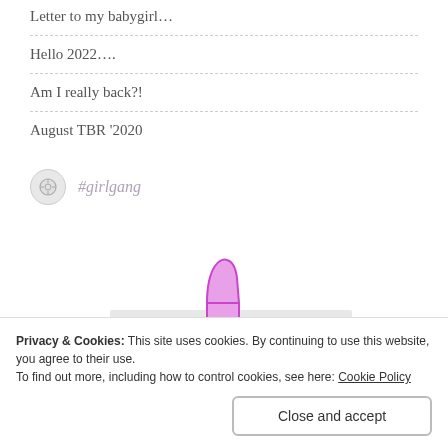Letter to my babygirl…
Hello 2022….
Am I really back?!
August TBR '2020
#girlgang
[Figure (illustration): Illustration of a pink lipstick above a gray bar]
Privacy & Cookies: This site uses cookies. By continuing to use this website, you agree to their use. To find out more, including how to control cookies, see here: Cookie Policy
Close and accept